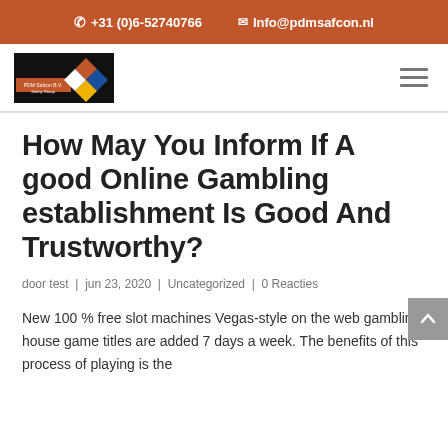+31 (0)6-52740766  Info@pdmsafcon.nl
[Figure (logo): PDM Safcon B.V. Safety Group logo with hazard diamond symbols on black background]
How May You Inform If A good Online Gambling establishment Is Good And Trustworthy?
door test | jun 23, 2020 | Uncategorized | 0 Reacties
New 100 % free slot machines Vegas-style on the web gambling house game titles are added 7 days a week. The benefits of this process of playing is the